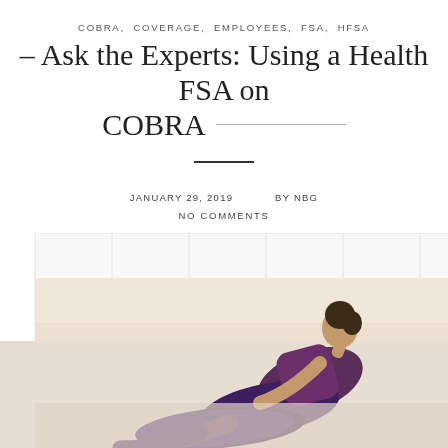COBRA, COVERAGE, EMPLOYEES, FSA, HFSA
– Ask the Experts: Using a Health FSA on COBRA —
JANUARY 29, 2019   BY NBG
NO COMMENTS
[Figure (photo): A woman in a purple outfit performing a yoga pose (backbend/stretch) on a light background, with a grid overlay pattern visible in the upper portion of the image.]